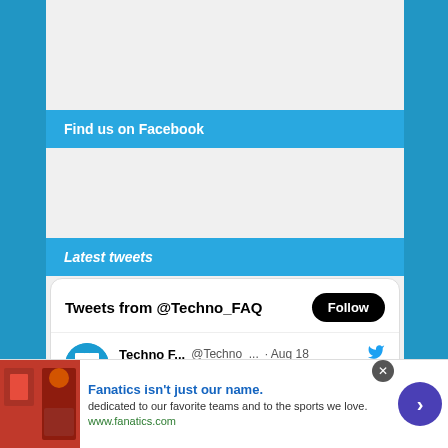Find us on Facebook
Latest tweets
[Figure (screenshot): Embedded Twitter widget showing 'Tweets from @Techno_FAQ' with Follow button and a tweet from Techno F... @Techno_... Aug 18: Hey Philipp Humm, thanks a lot for]
[Figure (screenshot): Ad banner: Fanatics isn't just our name. dedicated to our favorite teams and to the sports we love. www.fanatics.com with product images and next arrow button]